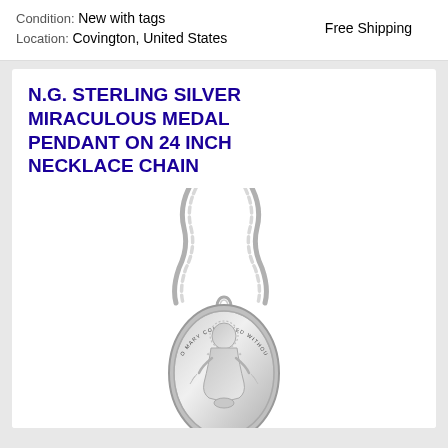Condition: New with tags
Free Shipping
Location: Covington, United States
N.G. STERLING SILVER MIRACULOUS MEDAL PENDANT ON 24 INCH NECKLACE CHAIN
[Figure (photo): Sterling silver miraculous medal pendant on a 24 inch necklace chain. The oval medallion features the Virgin Mary with text around the border reading 'O MARY CONCEIVED WITHOUT SIN PRAY FOR US WHO HAVE RECOURSE TO THEE'. Shown hanging on a rope-style chain.]